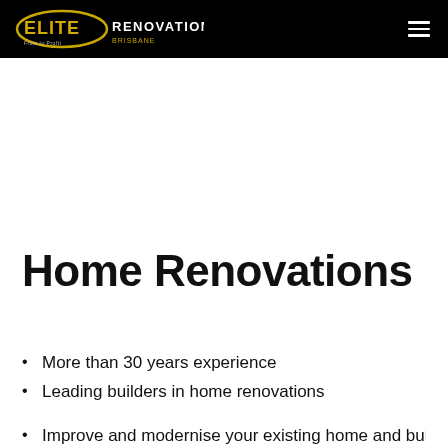ELITE RENOVATIONS
Home Renovations
More than 30 years experience
Leading builders in home renovations
Improve and modernise your existing home and build in